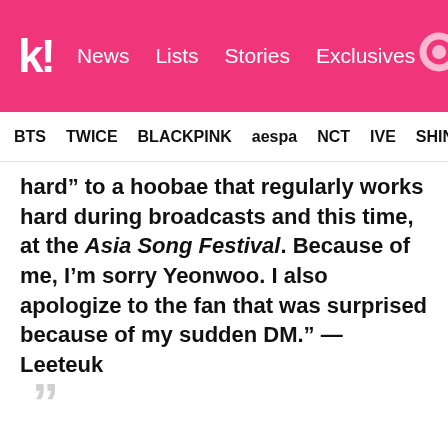k! News Lists Stories Exclusives
BTS TWICE BLACKPINK aespa NCT IVE SHINE
hard” to a hoobae that regularly works hard during broadcasts and this time, at the Asia Song Festival. Because of me, I’m sorry Yeonwoo. I also apologize to the fan that was surprised because of my sudden DM.” — Leeteuk
Leeteuk claimed that he had attempted to reach out to Yeonwoo as her industry senior, to tell her “you worked hard”. He had recently hosted